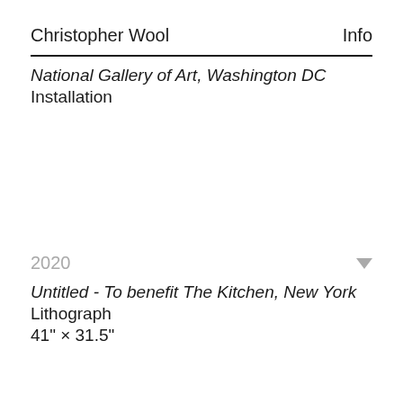Christopher Wool    Info
National Gallery of Art, Washington DC
Installation
2020
Untitled - To benefit The Kitchen, New York
Lithograph
41" × 31.5"